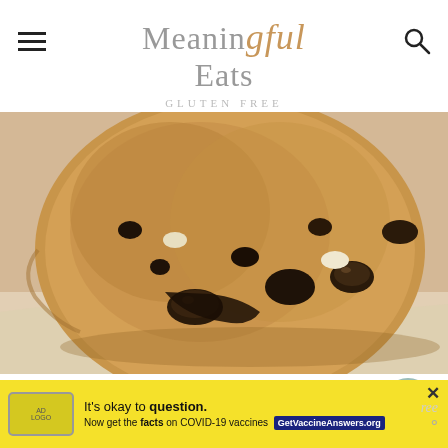Meaningful Eats
[Figure (photo): Close-up photo of a large chocolate chip cookie on parchment paper, showing melted chocolate chips and a golden-brown texture.]
Recipe Notes
[Figure (other): Yellow advertisement banner: It's okay to question. Now get the facts on COVID-19 vaccines. GetVaccineAnswers.org]